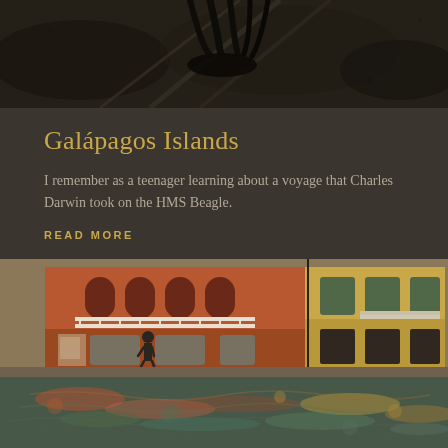[Figure (photo): Close-up black and white photo of what appears to be animal claws or feet on a rocky/sandy surface with some metal bars or sticks]
Galápagos Islands
I remember as a teenager learning about a voyage that Charles Darwin took on the HMS Beagle.
READ MORE
[Figure (photo): Colorful photo of Venice-style buildings along a canal. Left side shows a red/orange building with arched windows and a white balcony railing, center shows a walking pedestrian silhouette, right side shows a yellow-beige building with green shutters. The bottom half shows the canal water with colorful reflections of the buildings.]